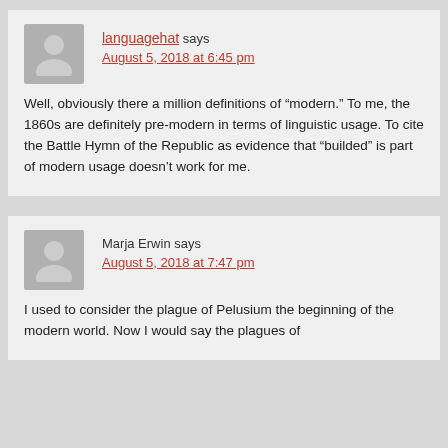languagehat says August 5, 2018 at 6:45 pm
Well, obviously there a million definitions of “modern.” To me, the 1860s are definitely pre-modern in terms of linguistic usage. To cite the Battle Hymn of the Republic as evidence that “builded” is part of modern usage doesn’t work for me.
Marja Erwin says August 5, 2018 at 7:47 pm
I used to consider the plague of Pelusium the beginning of the modern world. Now I would say the plagues of